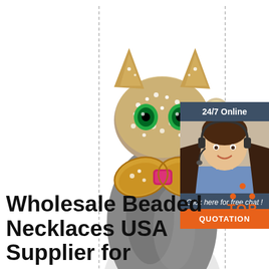[Figure (photo): A decorative cat brooch/pin with rhinestones, gold and gray enamel, with a bow at the chest. The brooch features green crystal eyes and colorful gemstone decorations. A dashed measurement line shows 2.2 cm width at the bottom. Weight: 12g label visible.]
[Figure (photo): Customer service chat widget on the right side. Header reads '24/7 Online'. Shows a smiling woman with a headset. Footer reads 'Click here for free chat!' with an orange QUOTATION button.]
[Figure (logo): Orange 'TOP' badge with triangle/arrow dots above the text on the right side.]
2.2 cm
Weight: 12g
Wholesale Beaded Necklaces USA Supplier for